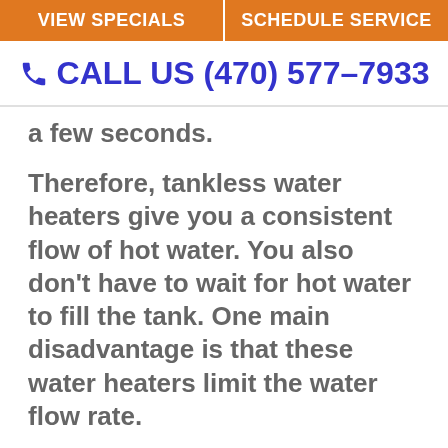VIEW SPECIALS | SCHEDULE SERVICE
CALL US (470) 577-7933
a few seconds.
Therefore, tankless water heaters give you a consistent flow of hot water. You also don't have to wait for hot water to fill the tank. One main disadvantage is that these water heaters limit the water flow rate.
Mostly, tankless water heaters have a water flow of 2 to 5 gallons of water